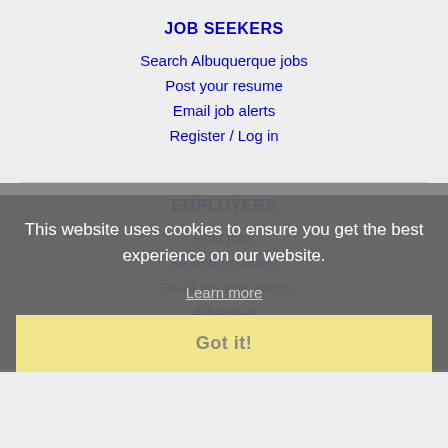JOB SEEKERS
Search Albuquerque jobs
Post your resume
Email job alerts
Register / Log in
EMPLOYERS
Post jobs
Search resumes
Email resume alerts
Advertise
This website uses cookies to ensure you get the best experience on our website.
Learn more
Got it!
IMMIGRATION SPECIALISTS